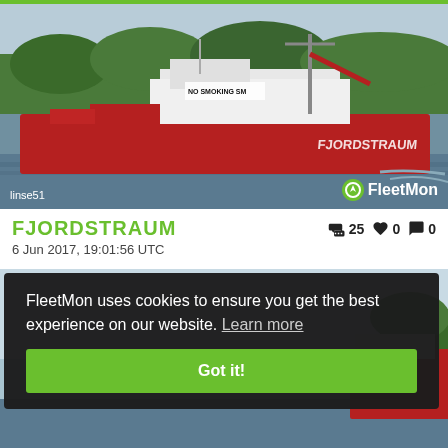[Figure (photo): Red tanker ship named FJORDSTRAUM sailing on a river with green hills in background. Ship has NO SMOKING text visible and red hull.]
FJORDSTRAUM
👍 25  ❤️ 0  💬 0
6 Jun 2017, 19:01:56 UTC
[Figure (photo): Partial view of another red ship near a riverbank with trees in background, partially obscured by cookie consent overlay.]
FleetMon uses cookies to ensure you get the best experience on our website. Learn more
Got it!